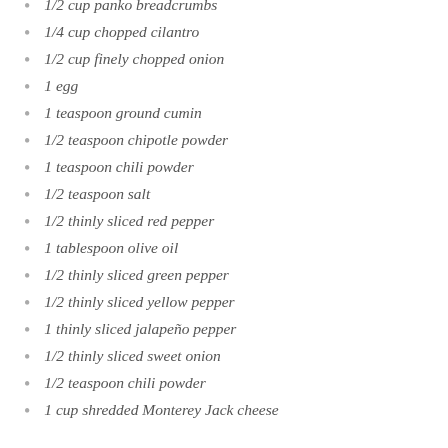1/2 cup panko breadcrumbs
1/4 cup chopped cilantro
1/2 cup finely chopped onion
1 egg
1 teaspoon ground cumin
1/2 teaspoon chipotle powder
1 teaspoon chili powder
1/2 teaspoon salt
1/2 thinly sliced red pepper
1 tablespoon olive oil
1/2 thinly sliced green pepper
1/2 thinly sliced yellow pepper
1 thinly sliced jalapeño pepper
1/2 thinly sliced sweet onion
1/2 teaspoon chili powder
1 cup shredded Monterey Jack cheese